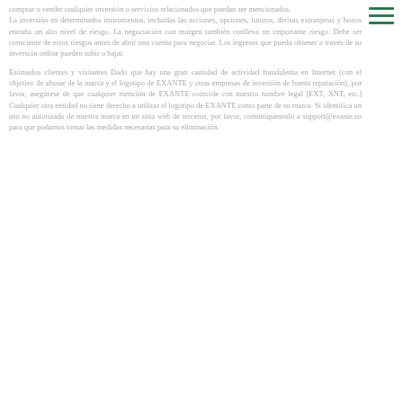comprar o vender cualquier inversión o servicios relacionados que puedan ser mencionados.
La inversión en determinados instrumentos, incluidas las acciones, opciones, futuros, divisas extranjeras y bonos entraña un alto nivel de riesgo. La negociación con margen también conlleva un importante riesgo. Debe ser consciente de estos riesgos antes de abrir una cuenta para negociar. Los ingresos que pueda obtener a través de su inversión online pueden subir o bajar.
Estimados clientes y visitantes Dado que hay una gran cantidad de actividad fraudulenta en Internet (con el objetivo de abusar de la marca y el logotipo de EXANTE y otras empresas de inversión de buena reputación), por favor, asegúrese de que cualquier mención de EXANTE coincide con nuestro nombre legal [EXT, XNT, etc.] Cualquier otra entidad no tiene derecho a utilizar el logotipo de EXANTE como parte de su marca. Si identifica un uso no autorizado de nuestra marca en un sitio web de terceros, por favor, comuníquenoslo a support@exante.eu para que podamos tomar las medidas necesarias para su eliminación.